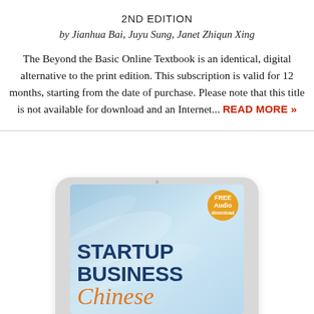2ND EDITION
by Jianhua Bai, Juyu Sung, Janet Zhiqun Xing
The Beyond the Basic Online Textbook is an identical, digital alternative to the print edition. This subscription is valid for 12 months, starting from the date of purchase. Please note that this title is not available for download and an Internet... READ MORE »
[Figure (photo): Tablet device showing the cover of 'Startup Business Chinese' textbook, with a blue abstract background, orange 'Chinese' text, dark blue bold 'STARTUP BUSINESS' heading, and a gold circular 'FREE Audio' badge in the top right corner.]